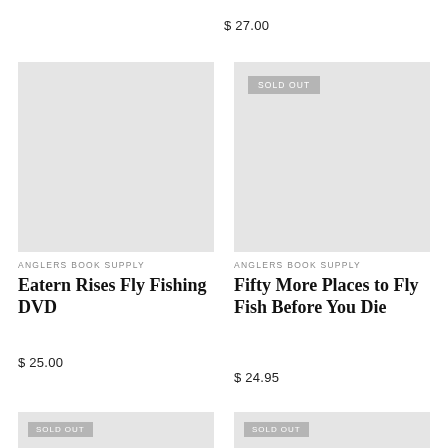$ 27.00
[Figure (photo): Gray placeholder product image for Eatern Rises Fly Fishing DVD]
ANGLERS BOOK SUPPLY
Eatern Rises Fly Fishing DVD
$ 25.00
[Figure (photo): Gray placeholder product image with SOLD OUT badge for Fifty More Places to Fly Fish Before You Die]
ANGLERS BOOK SUPPLY
Fifty More Places to Fly Fish Before You Die
$ 24.95
[Figure (photo): Gray placeholder product image with SOLD OUT badge]
[Figure (photo): Gray placeholder product image with SOLD OUT badge]